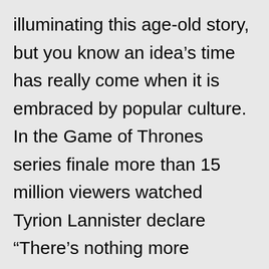illuminating this age-old story, but you know an idea's time has really come when it is embraced by popular culture. In the Game of Thrones series finale more than 15 million viewers watched Tyrion Lannister declare “There’s nothing more powerful in the world than a good story,” which the noble families of Westeros